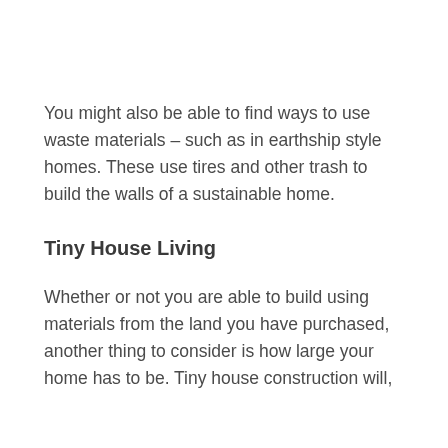You might also be able to find ways to use waste materials – such as in earthship style homes. These use tires and other trash to build the walls of a sustainable home.
Tiny House Living
Whether or not you are able to build using materials from the land you have purchased, another thing to consider is how large your home has to be. Tiny house construction will,